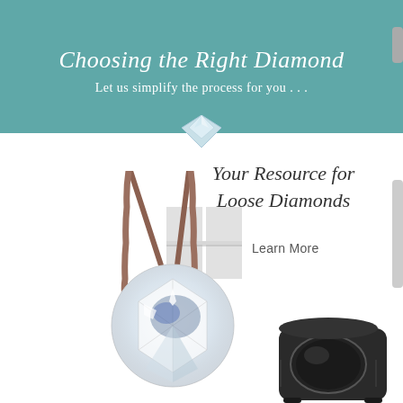Choosing the Right Diamond
Let us simplify the process for you . . .
[Figure (illustration): Small round diamond gem at top center of white area]
Your Resource for Loose Diamonds
Learn More
[Figure (illustration): Gray square mosaic/grid decoration overlay]
[Figure (photo): Jeweler tweezers holding a large brilliant-cut round diamond, with a jeweler's loupe magnifier in the lower right, on white background]